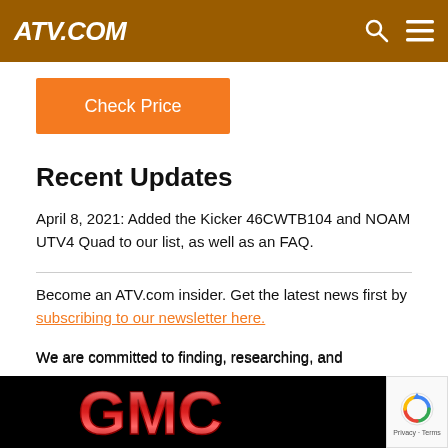ATV.COM
Check Price
Recent Updates
April 8, 2021: Added the Kicker 46CWTB104 and NOAM UTV4 Quad to our list, as well as an FAQ.
Become an ATV.com insider. Get the latest news first by subscribing to our newsletter here.
We are committed to finding, researching, and recommending the best products. We earn commissions from purchases made through links in our post.
[Figure (logo): GMC logo on black background banner advertisement at bottom of page]